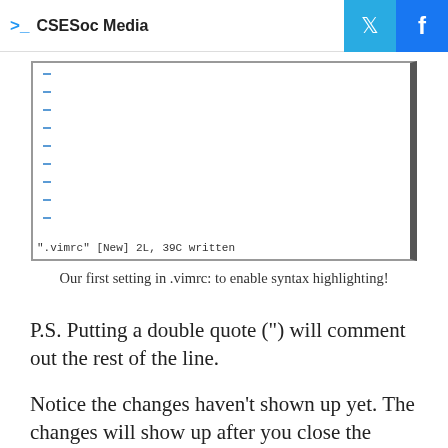CSESoc Media
[Figure (screenshot): A vim terminal editor screenshot showing an empty .vimrc file with blue line number indicators on the left sidebar and a status line at the bottom reading: ".vimrc" [New] 2L, 39C written]
Our first setting in .vimrc: to enable syntax highlighting!
P.S. Putting a double quote (") will comment out the rest of the line.
Notice the changes haven't shown up yet. The changes will show up after you close the .vimrc file. So the next time you open something in Vim, you'll be greeted with colourful letters!